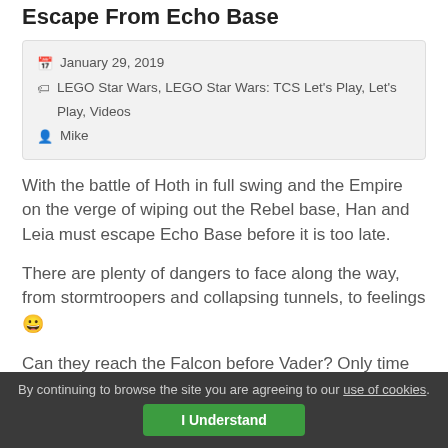Escape From Echo Base
January 29, 2019
LEGO Star Wars, LEGO Star Wars: TCS Let's Play, Let's Play, Videos
Mike
With the battle of Hoth in full swing and the Empire on the verge of wiping out the Rebel base, Han and Leia must escape Echo Base before it is too late.
There are plenty of dangers to face along the way, from stormtroopers and collapsing tunnels, to feelings 😀
Can they reach the Falcon before Vader? Only time will tell...
Part 26: Episode Five: The Empire Strikes Back – Escape From Echo Base
By continuing to browse the site you are agreeing to our use of cookies. I Understand